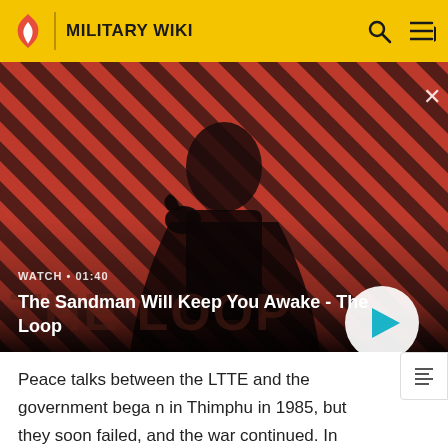MILITARY WIKI
[Figure (screenshot): Video thumbnail showing a dark-cloaked figure with a raven on their shoulder against a red and black diagonal striped background. Overlay text reads WATCH • 01:40 and title The Sandman Will Keep You Awake - The Loop. A white circular play button is visible on the right.]
Peace talks between the LTTE and the government began in Thimphu in 1985, but they soon failed, and the war continued. In 1986, many civilians were massacred as part of this conflict. In 1987, government troops pushed the LTTE fighters to the northern city of Jaffna. In April